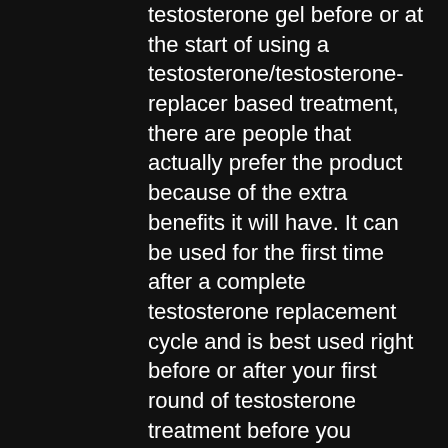testosterone gel before or at the start of using a testosterone/testosterone-replacer based treatment, there are people that actually prefer the product because of the extra benefits it will have. It can be used for the first time after a complete testosterone replacement cycle and is best used right before or after your first round of testosterone treatment before you increase your dose.
And while we were looking at testosterone/testosterone-replacement solutions there is also another option that is also FDA approved for sale (click link to enlarge):
2. Testosterone Hydrochloride
Testosterone Hydrochloride is also FDA approved for treatment, and it is the most FDA approved option for those that need